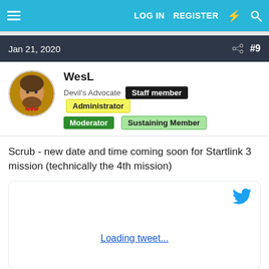LOG IN   REGISTER
Jan 21, 2020   #9
WesL
Devil's Advocate   Staff member   Administrator   Moderator   Sustaining Member
Scrub - new date and time coming soon for Startlink 3 mission (technically the 4th mission)
Loading tweet...